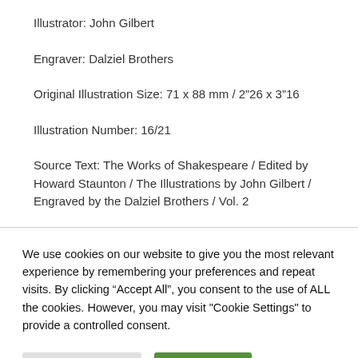Illustrator: John Gilbert
Engraver: Dalziel Brothers
Original Illustration Size: 71 x 88 mm / 2’26 x 3’16
Illustration Number: 16/21
Source Text: The Works of Shakespeare / Edited by Howard Staunton / The Illustrations by John Gilbert / Engraved by the Dalziel Brothers / Vol. 2
We use cookies on our website to give you the most relevant experience by remembering your preferences and repeat visits. By clicking “Accept All”, you consent to the use of ALL the cookies. However, you may visit "Cookie Settings" to provide a controlled consent.